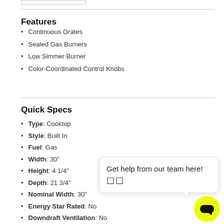Features
Continuous Grates
Sealed Gas Burners
Low Simmer Burner
Color-Coordinated Control Knobs
Quick Specs
Type: Cooktop
Style: Built In
Fuel: Gas
Width: 30"
Height: 4 1/4"
Depth: 21 3/4"
Nominal Width: 30"
Energy Star Rated: No
Downdraft Ventilation: No
Hood Recommended: Yes
Burner Type: Sealed
WiFi Connected: No